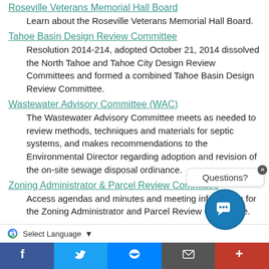Roseville Veterans Memorial Hall Board
Learn about the Roseville Veterans Memorial Hall Board.
Tahoe Basin Design Review Committee
Resolution 2014-214, adopted October 21, 2014 dissolved the North Tahoe and Tahoe City Design Review Committees and formed a combined Tahoe Basin Design Review Committee.
Wastewater Advisory Committee (WAC)
The Wastewater Advisory Committee meets as needed to review methods, techniques and materials for septic systems, and makes recommendations to the Environmental Director regarding adoption and revision of the on-site sewage disposal ordinance.
Zoning Administrator & Parcel Review Committee
Access agendas and minutes and meeting information for the Zoning Administrator and Parcel Review Committee.
[Figure (screenshot): Chat widget with 'Questions?' bubble and blue circular Ask icon with X close button]
Select Language
Facebook | Twitter | Messenger | Email | More